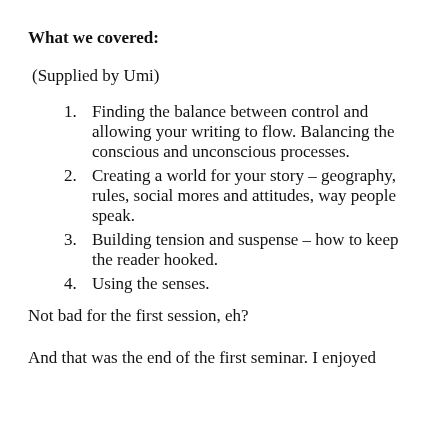What we covered:
(Supplied by Umi)
Finding the balance between control and allowing your writing to flow. Balancing the conscious and unconscious processes.
Creating a world for your story – geography, rules, social mores and attitudes, way people speak.
Building tension and suspense – how to keep the reader hooked.
Using the senses.
Not bad for the first session, eh?
And that was the end of the first seminar. I enjoyed